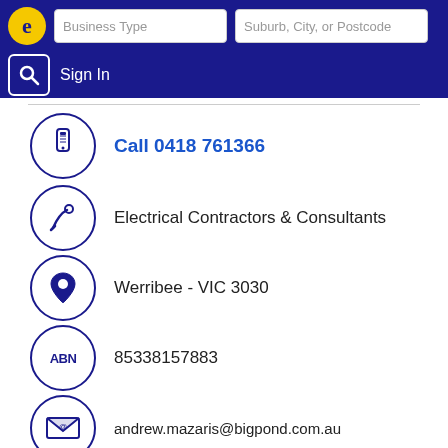Business Type | Suburb, City, or Postcode | Sign In
Call 0418 761366
Electrical Contractors & Consultants
Werribee - VIC 3030
85338157883
andrew.mazaris@bigpond.com.au
↳ More results nearby or related categories
Electrician Werribee VIC